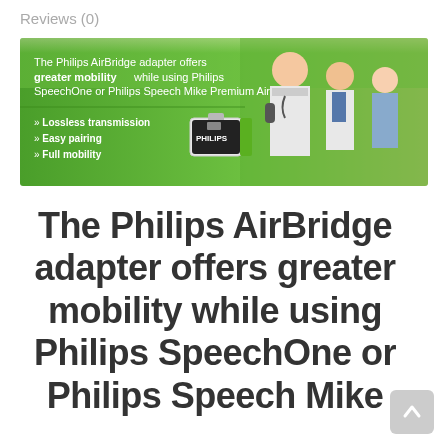Reviews (0)
[Figure (infographic): Philips AirBridge adapter promotional banner with green gradient background. Left side shows text: 'The Philips AirBridge adapter offers greater mobility while using Philips SpeechOne or Philips Speech Mike Premium Air'. Below that: bullet points 'Lossless transmission', 'Easy pairing', 'Full mobility' with a Philips USB adapter device image. Right side shows medical professionals walking in a corridor.]
The Philips AirBridge adapter offers greater mobility while using Philips SpeechOne or Philips Speech Mike